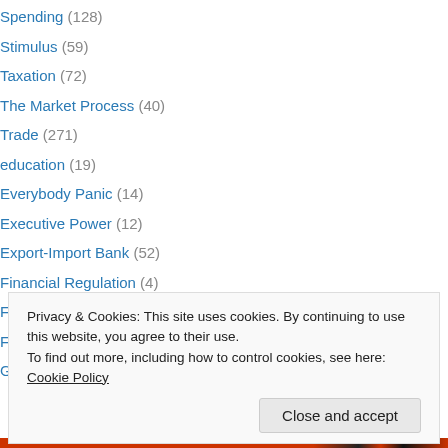Spending (128)
Stimulus (59)
Taxation (72)
The Market Process (40)
Trade (271)
education (19)
Everybody Panic (14)
Executive Power (12)
Export-Import Bank (52)
Financial Regulation (4)
Free Speech (40)
Fun with Statistics (10)
General Foolishness (153)
Privacy & Cookies: This site uses cookies. By continuing to use this website, you agree to their use. To find out more, including how to control cookies, see here: Cookie Policy
Close and accept